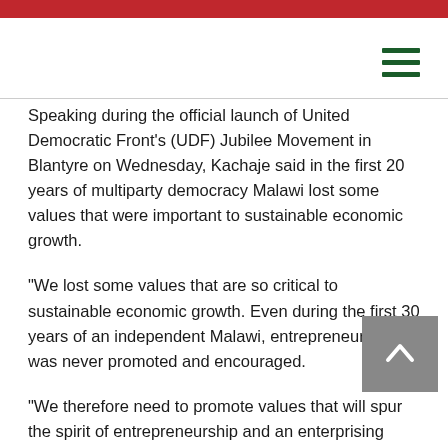Speaking during the official launch of United Democratic Front's (UDF) Jubilee Movement in Blantyre on Wednesday, Kachaje said in the first 20 years of multiparty democracy Malawi lost some values that were important to sustainable economic growth.
“We lost some values that are so critical to sustainable economic growth. Even during the first 30 years of an independent Malawi, entrepreneurship was never promoted and encouraged.
“We therefore need to promote values that will spur the spirit of entrepreneurship and an enterprising culture, especially amongst our young people who will shape Malawi in the next 50 years,” he said.